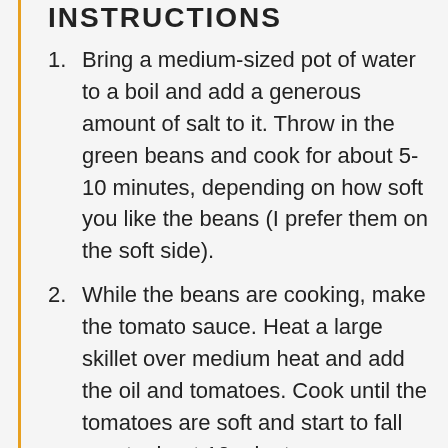INSTRUCTIONS
Bring a medium-sized pot of water to a boil and add a generous amount of salt to it. Throw in the green beans and cook for about 5-10 minutes, depending on how soft you like the beans (I prefer them on the soft side).
While the beans are cooking, make the tomato sauce. Heat a large skillet over medium heat and add the oil and tomatoes. Cook until the tomatoes are soft and start to fall apart, about 10 minutes.
Add the garlic, salt, pepper, and red pepper flakes, and cook for another